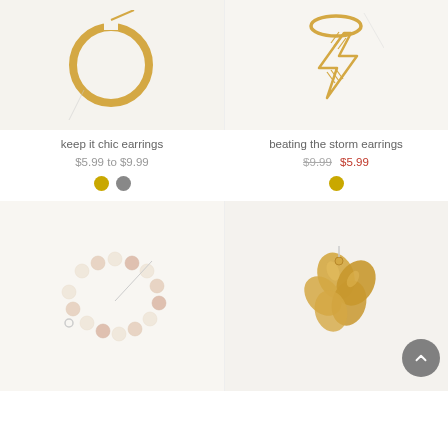[Figure (photo): Gold hoop earring on white/light background - keep it chic earrings product photo]
[Figure (photo): Gold lightning bolt pendant earring on white/light background - beating the storm earrings product photo]
keep it chic earrings
beating the storm earrings
$5.99 to $9.99
$9.99  $5.99
[Figure (photo): Pink and natural wood beaded bracelet on white background - product photo]
[Figure (photo): Gold metallic flower petal cluster earring on white background - product photo]